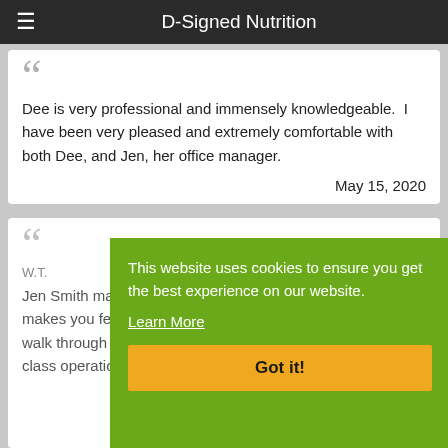D-Signed Nutrition
Dee is very professional and immensely knowledgeable.  I have been very pleased and extremely comfortable with both Dee, and Jen, her office manager.
May 15, 2020
W.T.
Jen Smith makes you feel comfortable and at ease and makes you feel comfortable and at ease as soon as you walk through the door. D-Signed nutrition is definitely a first class operation.
May 15, 2020
This website uses cookies to ensure you get the best experience on our website.
Learn More
Got it!